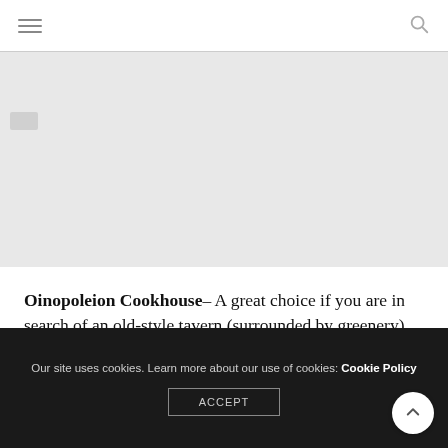[Figure (photo): Gray placeholder image area for Oinopoleion Cookhouse restaurant]
Oinopoleion Cookhouse– A great choice if you are in search of an old-style tavern (surrounded by greenery) that serves good food and has live music.
Our site uses cookies. Learn more about our use of cookies: Cookie Policy ACCEPT